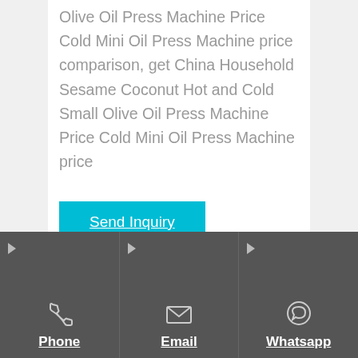Olive Oil Press Machine Price Cold Mini Oil Press Machine price comparison, get China Household Sesame Coconut Hot and Cold Small Olive Oil Press Machine Price Cold Mini Oil Press Machine price
Send Inquiry
[Figure (photo): Oil bottle with sunflower and oil splash image]
[Figure (photo): Oil press machine partial image]
Phone
Email
Whatsapp